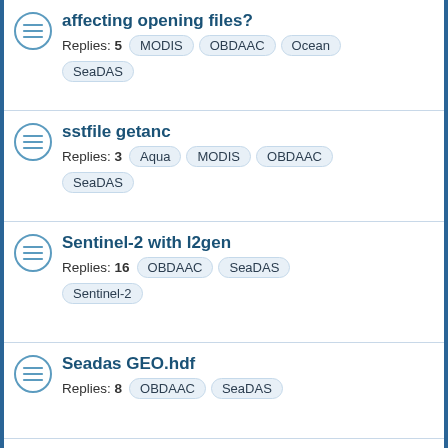affecting opening files? Replies: 5  MODIS  OBDAAC  Ocean  SeaDAS
sstfile getanc Replies: 3  Aqua  MODIS  OBDAAC  SeaDAS
Sentinel-2 with l2gen Replies: 16  OBDAAC  SeaDAS  Sentinel-2
Seadas GEO.hdf Replies: 8  OBDAAC  SeaDAS
Missing attitude files!